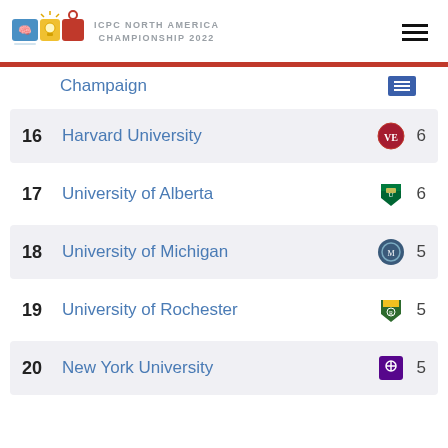ICPC NORTH AMERICA CHAMPIONSHIP 2022
Champaign
16  Harvard University  6
17  University of Alberta  6
18  University of Michigan  5
19  University of Rochester  5
20  New York University  5